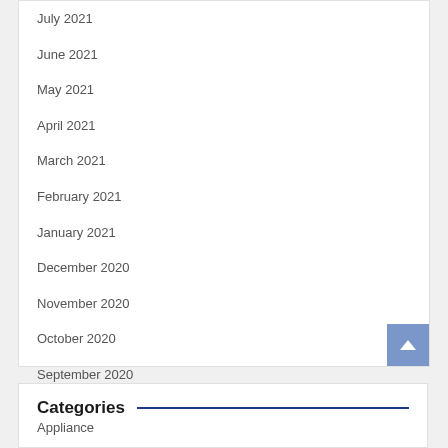July 2021
June 2021
May 2021
April 2021
March 2021
February 2021
January 2021
December 2020
November 2020
October 2020
September 2020
July 2020
Categories
Appliance